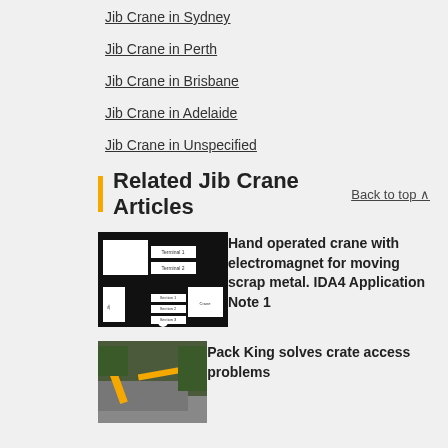Jib Crane in Sydney
Jib Crane in Perth
Jib Crane in Brisbane
Jib Crane in Adelaide
Jib Crane in Unspecified
Related Jib Crane Articles
[Figure (screenshot): Black and white engineering/wiring diagram schematic for a crane control panel]
Hand operated crane with electromagnet for moving scrap metal. IDA4 Application Note 1
[Figure (photo): Photo of a yellow crane arm on a truck, Pack King crane]
Pack King solves crate access problems